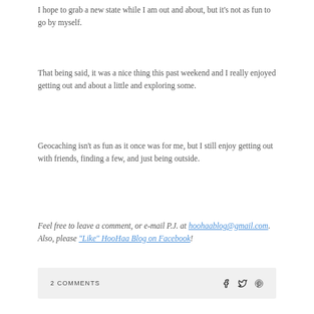I hope to grab a new state while I am out and about, but it's not as fun to go by myself.
That being said, it was a nice thing this past weekend and I really enjoyed getting out and about a little and exploring some.
Geocaching isn't as fun as it once was for me, but I still enjoy getting out with friends, finding a few, and just being outside.
Feel free to leave a comment, or e-mail P.J. at hoohaablog@gmail.com. Also, please "Like" HooHaa Blog on Facebook!
2 COMMENTS